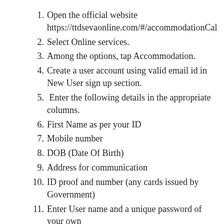Open the official website https://ttdsevaonline.com/#/accommodationCal
Select Online services.
Among the options, tap Accommodation.
Create a user account using valid email id in New User sign up section.
Enter the following details in the appropriate columns.
First Name as per your ID
Mobile number
DOB (Date Of Birth)
Address for communication
ID proof and number (any cards issued by Government)
Enter User name and a unique password of your own